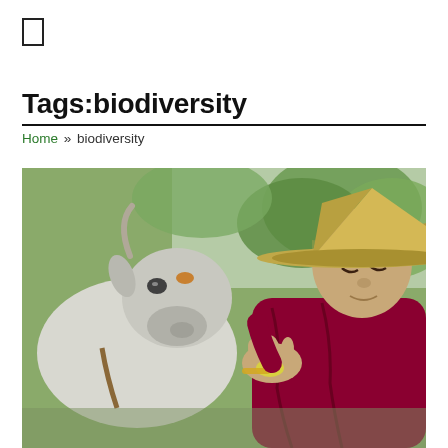[Figure (other): Small rectangle/icon outline in top left corner]
Tags:biodiversity
Home » biodiversity
[Figure (photo): A person wearing a conical straw hat and dark red robe feeding a white goat or livestock animal, with green trees in the background. Scene suggests a Buddhist monk with an animal in an Asian rural setting.]